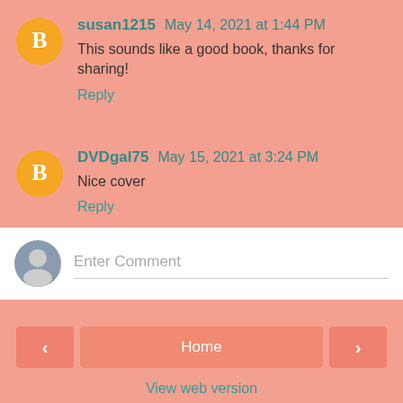susan1215 May 14, 2021 at 1:44 PM
This sounds like a good book, thanks for sharing!
Reply
DVDgal75 May 15, 2021 at 3:24 PM
Nice cover
Reply
Enter Comment
Home
View web version
Powered by Blogger.